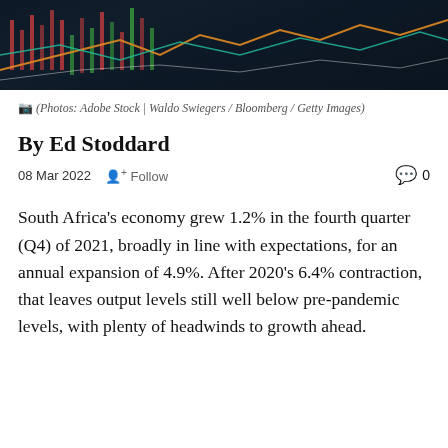[Figure (photo): Financial market chart banner image showing stock/trading charts with colored lines on dark background]
(Photos: Adobe Stock | Waldo Swiegers / Bloomberg / Getty Images)
By Ed Stoddard
08 Mar 2022   Follow   0
South Africa's economy grew 1.2% in the fourth quarter (Q4) of 2021, broadly in line with expectations, for an annual expansion of 4.9%. After 2020's 6.4% contraction, that leaves output levels still well below pre-pandemic levels, with plenty of headwinds to growth ahead.